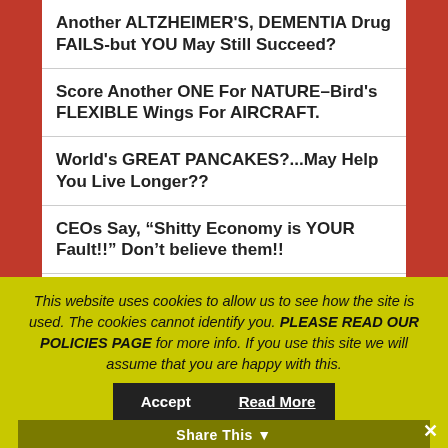Another ALTZHEIMER'S, DEMENTIA Drug FAILS-but YOU May Still Succeed?
Score Another ONE For NATURE–Bird's FLEXIBLE Wings For AIRCRAFT.
World's GREAT PANCAKES?...May Help You Live Longer??
CEOs Say, “Shitty Economy is YOUR Fault!!” Don’t believe them!!
Why Does YOUR Body Make Kidney Stones?
This website uses cookies to allow us to see how the site is used. The cookies cannot identify you. PLEASE READ OUR POLICIES PAGE for more info. If you use this site we will assume that you are happy with this.
Share This